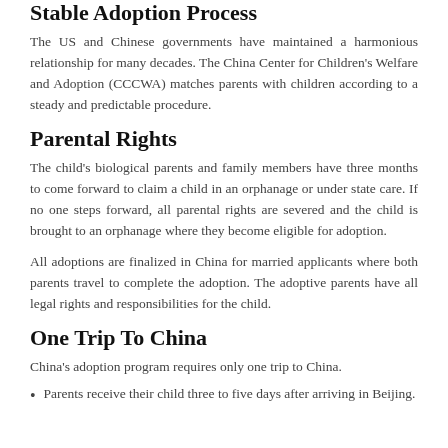Stable Adoption Process
The US and Chinese governments have maintained a harmonious relationship for many decades. The China Center for Children’s Welfare and Adoption (CCCWA) matches parents with children according to a steady and predictable procedure.
Parental Rights
The child’s biological parents and family members have three months to come forward to claim a child in an orphanage or under state care. If no one steps forward, all parental rights are severed and the child is brought to an orphanage where they become eligible for adoption.
All adoptions are finalized in China for married applicants where both parents travel to complete the adoption. The adoptive parents have all legal rights and responsibilities for the child.
One Trip To China
China’s adoption program requires only one trip to China.
Parents receive their child three to five days after arriving in Beijing.